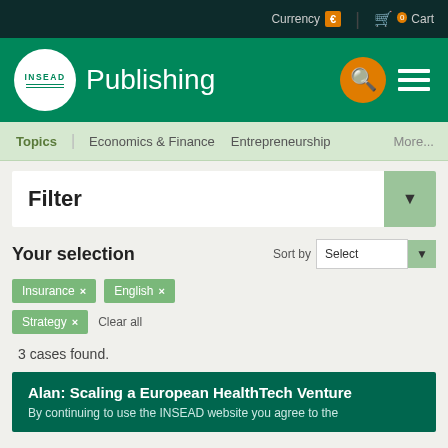Currency € | 0 Cart
INSEAD Publishing
Topics  Economics & Finance  Entrepreneurship  More...
Filter
Your selection
Sort by Select
Insurance ×
English ×
Strategy ×
Clear all
3 cases found.
Alan: Scaling a European HealthTech Venture
By continuing to use the INSEAD website you agree to the